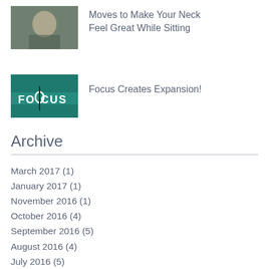[Figure (photo): Thumbnail image for blog post about neck exercises while sitting]
Moves to Make Your Neck Feel Great While Sitting
[Figure (photo): Thumbnail image with FOCUS text overlay for blog post]
Focus Creates Expansion!
Archive
March 2017 (1)
January 2017 (1)
November 2016 (1)
October 2016 (4)
September 2016 (5)
August 2016 (4)
July 2016 (5)
June 2016 (4)